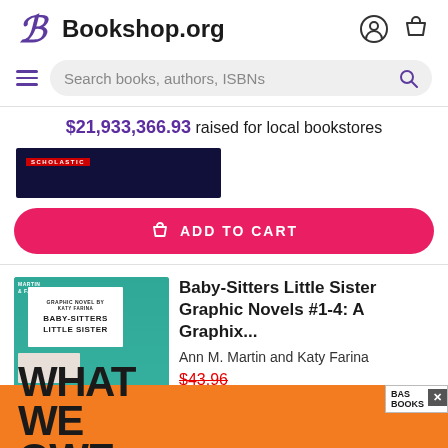Bookshop.org
Search books, authors, ISBNs
$21,933,366.93 raised for local bookstores
[Figure (screenshot): Partial book cover with Scholastic label, dark background]
ADD TO CART
[Figure (photo): Baby-Sitters Little Sister Graphic Novels box set cover with teal background]
Baby-Sitters Little Sister Graphic Novels #1-4: A Graphix...
Ann M. Martin and Katy Farina
$43.96
[Figure (photo): What We Owe book cover with orange background, bold black text]